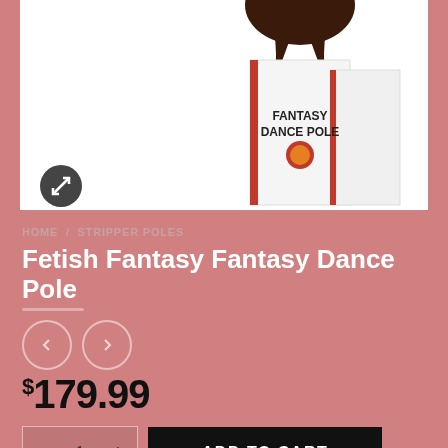[Figure (photo): Product photo of Fetish Fantasy Fantasy Dance Pole showing the product box with text 'FANTASY DANCE POLE' and a person with dark hair]
HOME / STRIPPER POLES
Fetish Fantasy Fantasy Dance Pole
$179.99
ADD TO CART
SKU: CNVNAL-38324
Categories: Extras, Stripper Poles